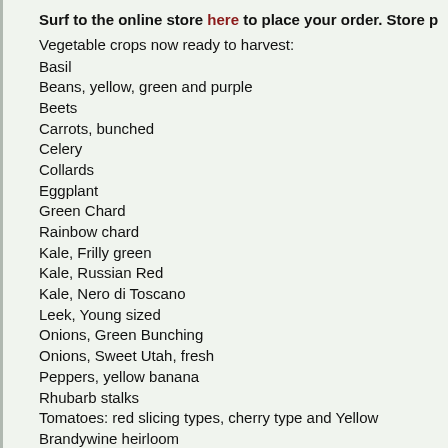Surf to the online store here to place your order. Store pick up Thurs
Vegetable crops now ready to harvest:
Basil
Beans, yellow, green and purple
Beets
Carrots, bunched
Celery
Collards
Eggplant
Green Chard
Rainbow chard
Kale, Frilly green
Kale, Russian Red
Kale, Nero di Toscano
Leek, Young sized
Onions, Green Bunching
Onions, Sweet Utah, fresh
Peppers, yellow banana
Rhubarb stalks
Tomatoes: red slicing types, cherry type and Yellow Brandywine heirloom
Cucumbers, slicing and pickling
Zucchini: yellow, green and striped.